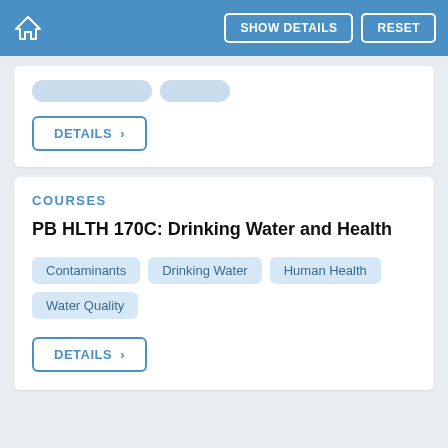SHOW DETAILS  RESET
COURSES
PB HLTH 170C: Drinking Water and Health
Contaminants
Drinking Water
Human Health
Water Quality
DETAILS >